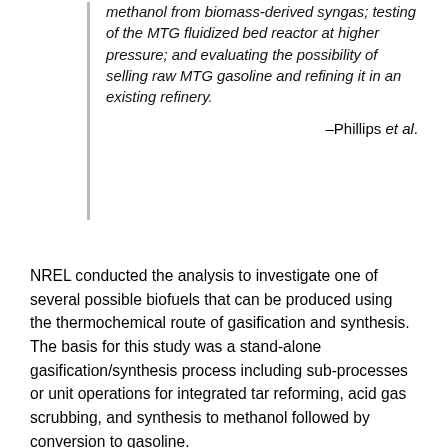methanol from biomass-derived syngas; testing of the MTG fluidized bed reactor at higher pressure; and evaluating the possibility of selling raw MTG gasoline and refining it in an existing refinery.
–Phillips et al.
NREL conducted the analysis to investigate one of several possible biofuels that can be produced using the thermochemical route of gasification and synthesis. The basis for this study was a stand-alone gasification/synthesis process including sub-processes or unit operations for integrated tar reforming, acid gas scrubbing, and synthesis to methanol followed by conversion to gasoline.
The report uses a new technoeconomic model developed in Aspen Plus to look at the future potential of the described biomass-to-gasoline (BTG) process, based on calculations for a mature plant (the nth plant) and 2012 technology targets as established in the Multi-Year Technical Plan of the US Department of Energy (DOE)